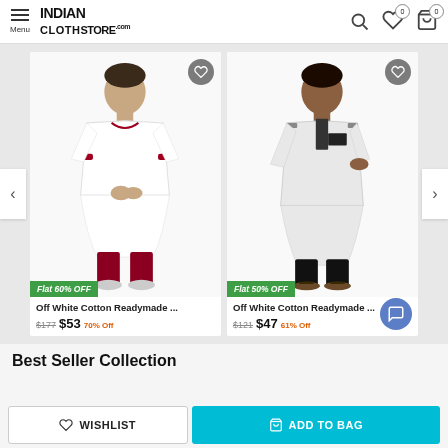INDIAN CLOTHSTORE .com — Menu | Search | Wishlist (0) | Cart (0)
[Figure (photo): Man wearing off-white cotton kurta with red churidar, with Flat 60% OFF badge]
Off White Cotton Readymade ...
$177  $53  70% Off
[Figure (photo): Man wearing off-white cotton kurta with black pants, with Flat 50% OFF badge]
Off White Cotton Readymade ...
$121  $47  61% Off
Best Seller Collection
WISHLIST  |  ADD TO BAG